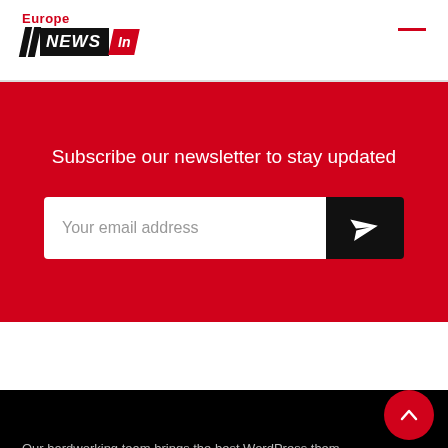Europe NEWS In
Subscribe our newsletter to stay updated
[Figure (infographic): Email subscription form with text field 'Your email address' and a black send button with paper plane icon]
About Barta
Our hardworking team brings the best WordPress themes